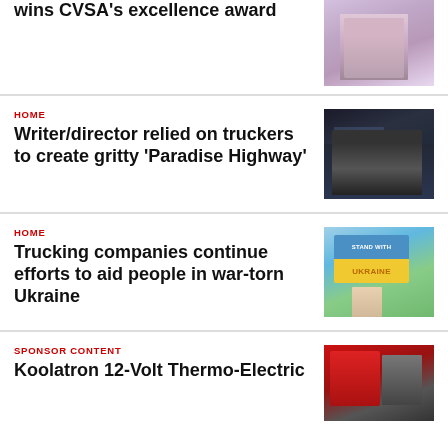wins CVSA's excellence award
[Figure (photo): Person in light purple shirt standing near a vehicle]
HOME
Writer/director relied on truckers to create gritty 'Paradise Highway'
[Figure (photo): Person inside a truck cab, dark moody scene]
HOME
Trucking companies continue efforts to aid people in war-torn Ukraine
[Figure (photo): Hand holding a sign that reads STAND WITH UKRAINE in blue and yellow]
SPONSOR CONTENT
Koolatron 12-Volt Thermo-Electric